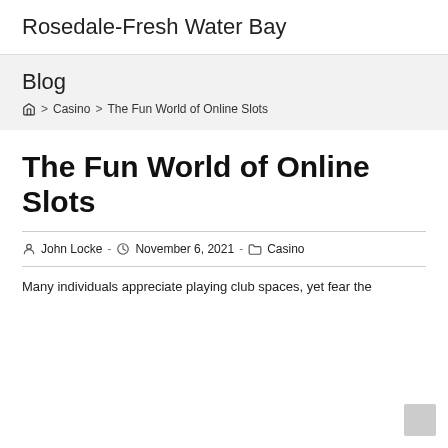Rosedale-Fresh Water Bay
Blog
Home > Casino > The Fun World of Online Slots
The Fun World of Online Slots
John Locke  -  November 6, 2021  -  Casino
Many individuals appreciate playing club spaces, yet fear the